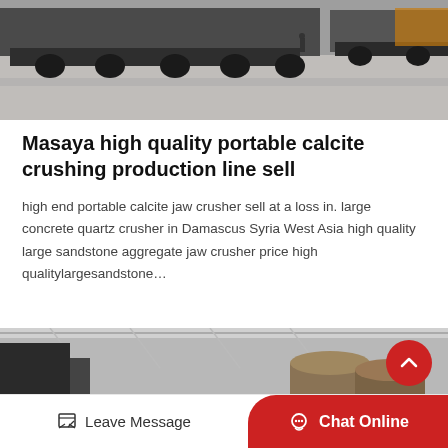[Figure (photo): Industrial trucks or heavy transport vehicles parked on a concrete floor in a warehouse or facility]
Masaya high quality portable calcite crushing production line sell
high end portable calcite jaw crusher sell at a loss in. large concrete quartz crusher in Damascus Syria West Asia high quality large sandstone aggregate jaw crusher price high qualitylargesandstone…
[Figure (photo): Interior of an industrial facility or warehouse with machinery and equipment including what appear to be large cylindrical objects]
Leave Message
Chat Online